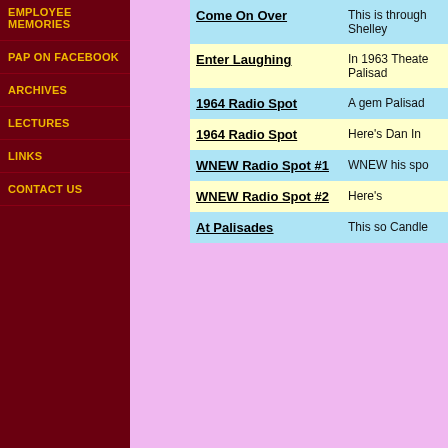EMPLOYEE MEMORIES
PAP on FACEBOOK
ARCHIVES
LECTURES
LINKS
CONTACT US
| Title | Description |
| --- | --- |
| Come On Over | This is through Shelley |
| Enter Laughing | In 1963 Theate Palisad |
| 1964 Radio Spot | A gem Palisad |
| 1964 Radio Spot | Here's Dan In |
| WNEW Radio Spot #1 | WNEW his spo |
| WNEW Radio Spot #2 | Here's |
| At Palisades | This so Candle |